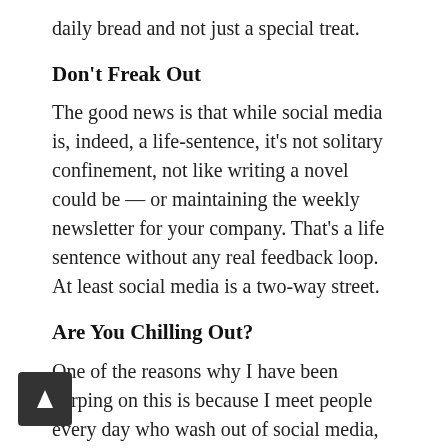daily bread and not just a special treat.
Don’t Freak Out
The good news is that while social media is, indeed, a life-sentence, it’s not solitary confinement, not like writing a novel could be — or maintaining the weekly newsletter for your company. That’s a life sentence without any real feedback loop. At least social media is a two-way street.
Are You Chilling Out?
One of the reasons why I have been harping on this is because I meet people every day who wash out of social media, be it blogging or general social media content marketing. Washing out because they burst out of the block in a sprint when what they need to do take it easy because social media is even longer than